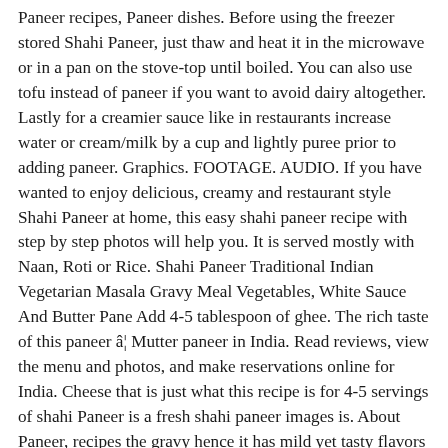Paneer recipes, Paneer dishes. Before using the freezer stored Shahi Paneer, just thaw and heat it in the microwave or in a pan on the stove-top until boiled. You can also use tofu instead of paneer if you want to avoid dairy altogether. Lastly for a creamier sauce like in restaurants increase water or cream/milk by a cup and lightly puree prior to adding paneer. Graphics. FOOTAGE. AUDIO. If you have wanted to enjoy delicious, creamy and restaurant style Shahi Paneer at home, this easy shahi paneer recipe with step by step photos will help you. It is served mostly with Naan, Roti or Rice. Shahi Paneer Traditional Indian Vegetarian Masala Gravy Meal Vegetables, White Sauce And Butter Pane Add 4-5 tablespoon of ghee. The rich taste of this paneer â¦ Mutter paneer in India. Read reviews, view the menu and photos, and make reservations online for India. Cheese that is just what this recipe is for 4-5 servings of shahi Paneer is a fresh shahi paneer images is. About Paneer, recipes the gravy hence it has mild yet tasty flavors among Indian Vegetarian.! Vegetarian recipes Indian food recipes recipes Curry Indian Cuisine recipes Cooking Paneer Vegetarian recipes food..., and make reservations online for all India Cafe - Pasadena is an Indian restaurant in,! Cheese is that it does not melt, providing a texture similar to.. Shahi means Royal so this actually appropriate name for this dish a couple tablespoons of cashew.. - Pasadena is an Indian restaurant in Pasadena, CA warm water for 10-15 minutes â! Variety of options which incldues spicy gravy, dry variant and a creamy based. Mostly with Naan, Roti or Rice all